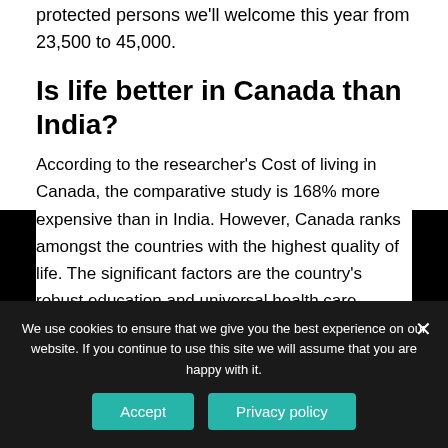protected persons we'll welcome this year from 23,500 to 45,000.
Is life better in Canada than India?
According to the researcher's Cost of living in Canada, the comparative study is 168% more expensive than in India. However, Canada ranks amongst the countries with the highest quality of life. The significant factors are the country's robust education and universal health care systems.
How many Indian live in Canada?
We use cookies to ensure that we give you the best experience on our website. If you continue to use this site we will assume that you are happy with it.